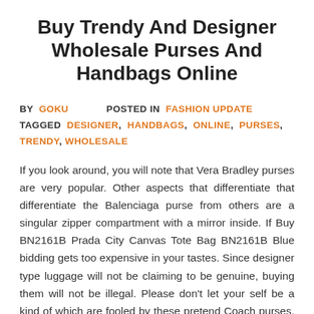Buy Trendy And Designer Wholesale Purses And Handbags Online
BY GOKU   POSTED IN FASHION UPDATE   TAGGED DESIGNER, HANDBAGS, ONLINE, PURSES, TRENDY, WHOLESALE
If you look around, you will note that Vera Bradley purses are very popular. Other aspects that differentiate that differentiate the Balenciaga purse from others are a singular zipper compartment with a mirror inside. If Buy BN2161B Prada City Canvas Tote Bag BN2161B Blue bidding gets too expensive in your tastes. Since designer type luggage will not be claiming to be genuine, buying them will not be illegal. Please don't let your self be a kind of which are fooled by these pretend Coach purses. For the actual body of the purse you bought to fold the fabric until